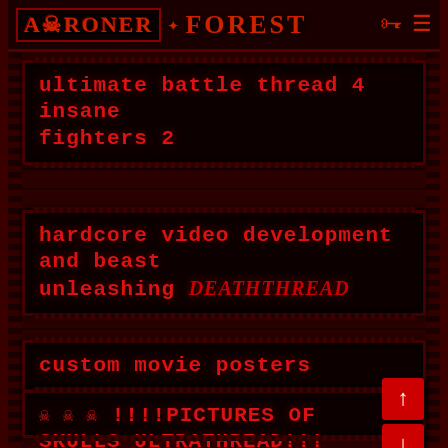ARRONER * FOREST
ultimate battle thread 4 insane fighters 2
hardcore video development and beast unleashing DEATHTHREAD
custom movie posters
☠☠☠ !!!!PICTURES OF SKULLS ULTRATHREAD!!! ☠☠☠